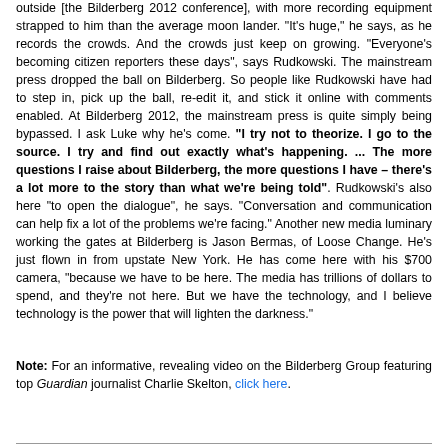outside [the Bilderberg 2012 conference], with more recording equipment strapped to him than the average moon lander. "It's huge," he says, as he records the crowds. And the crowds just keep on growing. "Everyone's becoming citizen reporters these days", says Rudkowski. The mainstream press dropped the ball on Bilderberg. So people like Rudkowski have had to step in, pick up the ball, re-edit it, and stick it online with comments enabled. At Bilderberg 2012, the mainstream press is quite simply being bypassed. I ask Luke why he's come. "I try not to theorize. I go to the source. I try and find out exactly what's happening. ... The more questions I raise about Bilderberg, the more questions I have – there's a lot more to the story than what we're being told". Rudkowski's also here "to open the dialogue", he says. "Conversation and communication can help fix a lot of the problems we're facing." Another new media luminary working the gates at Bilderberg is Jason Bermas, of Loose Change. He's just flown in from upstate New York. He has come here with his $700 camera, "because we have to be here. The media has trillions of dollars to spend, and they're not here. But we have the technology, and I believe technology is the power that will lighten the darkness."
Note: For an informative, revealing video on the Bilderberg Group featuring top Guardian journalist Charlie Skelton, click here.